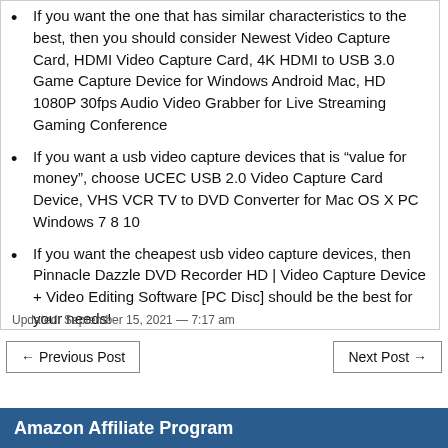If you want the one that has similar characteristics to the best, then you should consider Newest Video Capture Card, HDMI Video Capture Card, 4K HDMI to USB 3.0 Game Capture Device for Windows Android Mac, HD 1080P 30fps Audio Video Grabber for Live Streaming Gaming Conference
If you want a usb video capture devices that is “value for money”, choose UCEC USB 2.0 Video Capture Card Device, VHS VCR TV to DVD Converter for Mac OS X PC Windows 7 8 10
If you want the cheapest usb video capture devices, then Pinnacle Dazzle DVD Recorder HD | Video Capture Device + Video Editing Software [PC Disc] should be the best for your needs!
Updated: September 15, 2021 — 7:17 am
← Previous Post
Next Post →
Amazon Affiliate Program